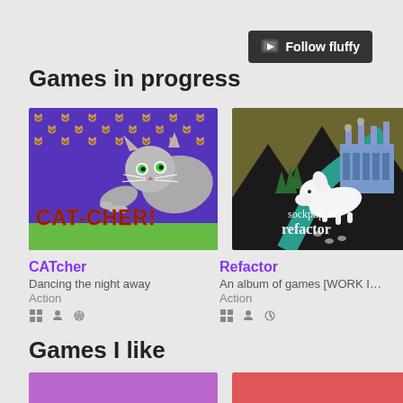[Figure (screenshot): Follow fluffy button in top-right corner, dark background with store icon]
Games in progress
[Figure (illustration): CATcher game thumbnail - cartoon cat on purple background with cat face pattern, text reads CAT-CHER!]
CATcher
Dancing the night away
Action
[Figure (illustration): Refactor game thumbnail - white dog sniffing ground near teal river, dark mountains and blue factory in background, text reads sockpuppet refactor]
Refactor
An album of games [WORK IN ...
Action
Games I like